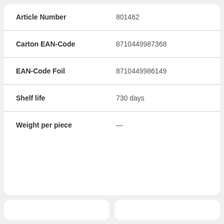| Field | Value |
| --- | --- |
| Article Number | 801462 |
| Carton EAN-Code | 8710449987368 |
| EAN-Code Foil | 8710449986149 |
| Shelf life | 730 days |
| Weight per piece | — |